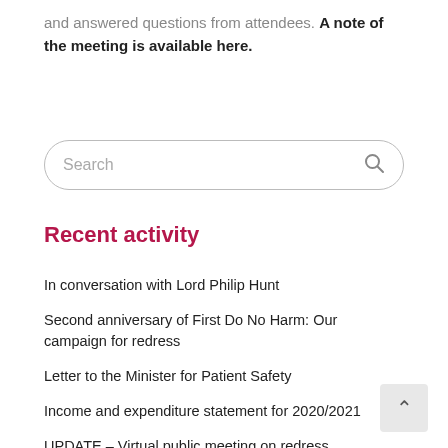and answered questions from attendees. A note of the meeting is available here.
[Figure (other): Search input box with placeholder text 'Search' and a search icon on the right]
Recent activity
In conversation with Lord Philip Hunt
Second anniversary of First Do No Harm: Our campaign for redress
Letter to the Minister for Patient Safety
Income and expenditure statement for 2020/2021
UPDATE – Virtual public meeting on redress